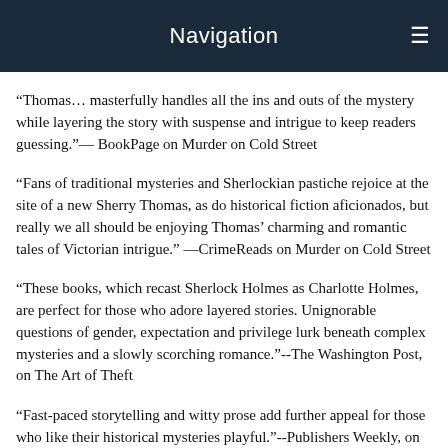Navigation
“Thomas… masterfully handles all the ins and outs of the mystery while layering the story with suspense and intrigue to keep readers guessing.”— BookPage on Murder on Cold Street
“Fans of traditional mysteries and Sherlockian pastiche rejoice at the site of a new Sherry Thomas, as do historical fiction aficionados, but really we all should be enjoying Thomas’ charming and romantic tales of Victorian intrigue.” —CrimeReads on Murder on Cold Street
"These books, which recast Sherlock Holmes as Charlotte Holmes, are perfect for those who adore layered stories. Unignorable questions of gender, expectation and privilege lurk beneath complex mysteries and a slowly scorching romance."--The Washington Post, on The Art of Theft
"Fast-paced storytelling and witty prose add further appeal for those who like their historical mysteries playful."--Publishers Weekly, on